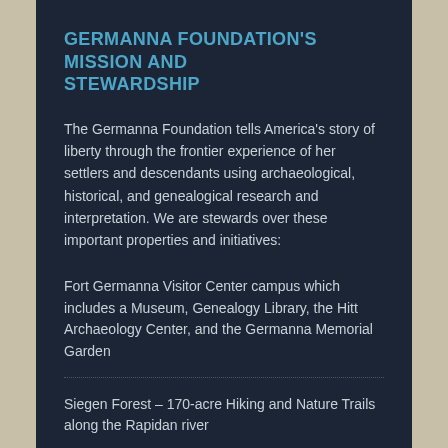GERMANNA FOUNDATION'S MISSION AND STEWARDSHIP
The Germanna Foundation tells America's story of liberty through the frontier experience of her settlers and descendants using archaeological, historical, and genealogical research and interpretation. We are stewards over these important properties and initiatives:
Fort Germanna Visitor Center campus which includes a Museum, Genealogy Library, the Hitt Archaeology Center, and the Germanna Memorial Garden
Siegen Forest – 170-acre Hiking and Nature Trails along the Rapidan river
1714/1717 Fort Germanna Archaeology Site
Virginia Lt. Gov. Alexander Spotswood house...